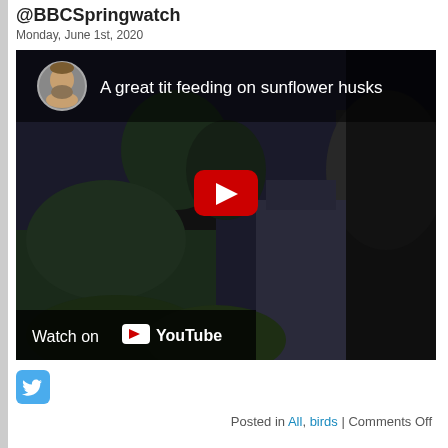@BBCSpringwatch
Monday, June 1st, 2020
[Figure (screenshot): Embedded YouTube video thumbnail showing 'A great tit feeding on sunflower husks' with a dark garden background, red play button, and YouTube branding at bottom.]
[Figure (logo): Twitter bird icon in teal/blue square]
Posted in All, birds | Comments Off